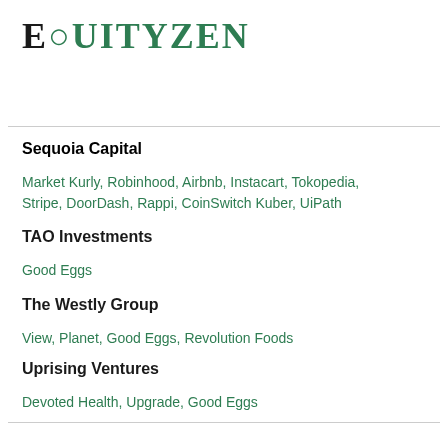EQUITYZEN
Sequoia Capital
Market Kurly, Robinhood, Airbnb, Instacart, Tokopedia, Stripe, DoorDash, Rappi, CoinSwitch Kuber, UiPath
TAO Investments
Good Eggs
The Westly Group
View, Planet, Good Eggs, Revolution Foods
Uprising Ventures
Devoted Health, Upgrade, Good Eggs